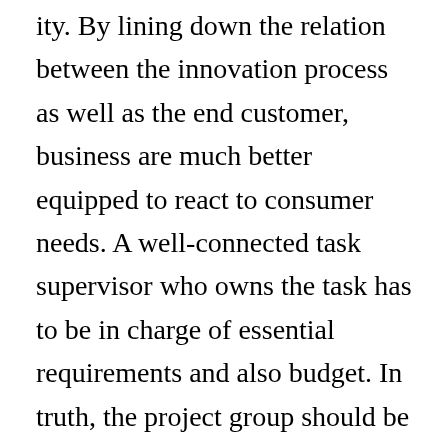ity. By lining down the relation between the innovation process as well as the end customer, business are much better equipped to react to consumer needs. A well-connected task supervisor who owns the task has to be in charge of essential requirements and also budget. In truth, the project group should be cross-functional. If every one of these things are succeeded, the results could be huge. You might even develop a brand-new industry, or make your own product.